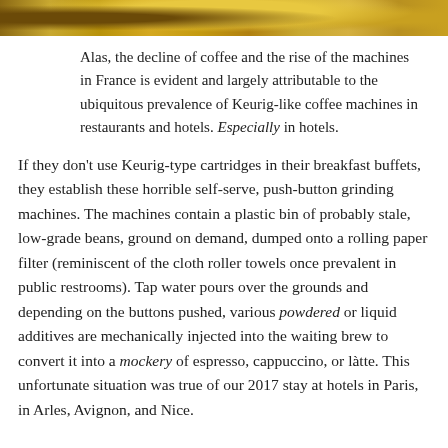[Figure (photo): Partial photo strip at top of page showing golden/brown toned image, likely of a decorative or food-related subject.]
Alas, the decline of coffee and the rise of the machines in France is evident and largely attributable to the ubiquitous prevalence of Keurig-like coffee machines in restaurants and hotels. Especially in hotels.
If they don't use Keurig-type cartridges in their breakfast buffets, they establish these horrible self-serve, push-button grinding machines. The machines contain a plastic bin of probably stale, low-grade beans, ground on demand, dumped onto a rolling paper filter (reminiscent of the cloth roller towels once prevalent in public restrooms). Tap water pours over the grounds and depending on the buttons pushed, various powdered or liquid additives are mechanically injected into the waiting brew to convert it into a mockery of espresso, cappuccino, or làtte. This unfortunate situation was true of our 2017 stay at hotels in Paris, in Arles, Avignon, and Nice.